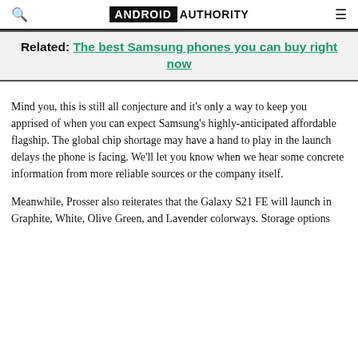ANDROID AUTHORITY
Related: The best Samsung phones you can buy right now
Mind you, this is still all conjecture and it’s only a way to keep you apprised of when you can expect Samsung’s highly-anticipated affordable flagship. The global chip shortage may have a hand to play in the launch delays the phone is facing. We’ll let you know when we hear some concrete information from more reliable sources or the company itself.
Meanwhile, Prosser also reiterates that the Galaxy S21 FE will launch in Graphite, White, Olive Green, and Lavender colorways. Storage options